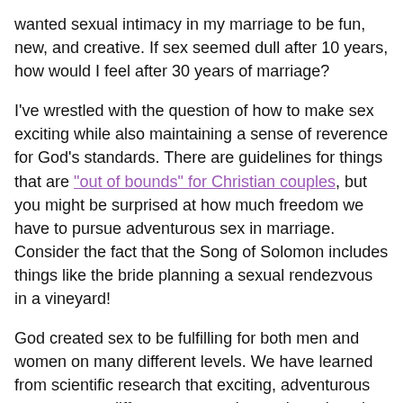wanted sexual intimacy in my marriage to be fun, new, and creative. If sex seemed dull after 10 years, how would I feel after 30 years of marriage?
I've wrestled with the question of how to make sex exciting while also maintaining a sense of reverence for God's standards. There are guidelines for things that are "out of bounds" for Christian couples, but you might be surprised at how much freedom we have to pursue adventurous sex in marriage. Consider the fact that the Song of Solomon includes things like the bride planning a sexual rendezvous in a vineyard!
God created sex to be fulfilling for both men and women on many different levels. We have learned from scientific research that exciting, adventurous sex serves a different purpose in marriage than the "normal" episodes of sexual intimacy between a husband and wife. The truth is that both are important aspects of building a strong marriage.